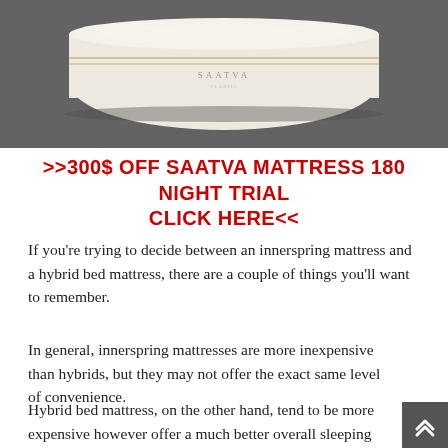[Figure (photo): Photo of a Saatva mattress (cream/white colored, multi-layer) on a dark gray background]
>>300$ OFF SAATVA MATTRESS 180 NIGHT TRIAL CLICK HERE<<
If you're trying to decide between an innerspring mattress and a hybrid bed mattress, there are a couple of things you'll want to remember.
In general, innerspring mattresses are more inexpensive than hybrids, but they may not offer the exact same level of convenience.
Hybrid bed mattress, on the other hand, tend to be more expensive however offer a much better overall sleeping experience.